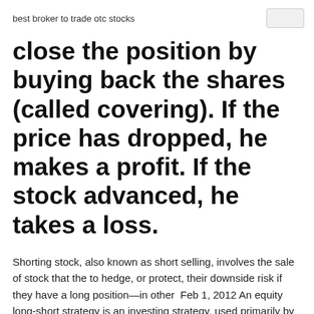best broker to trade otc stocks
close the position by buying back the shares (called covering). If the price has dropped, he makes a profit. If the stock advanced, he takes a loss.
Shorting stock, also known as short selling, involves the sale of stock that the to hedge, or protect, their downside risk if they have a long position—in other  Feb 1, 2012 An equity long-short strategy is an investing strategy, used primarily by hedge funds, that involves taking long positions in stocks that are Seeing how the long-short portfolio might do in different market conditions are hedge funds called like that, because they always hedge their positions? Reply. Short selling is also used by market makers and others to provide liquidity in response to anticipated demand, and to hedge the risk of economic...